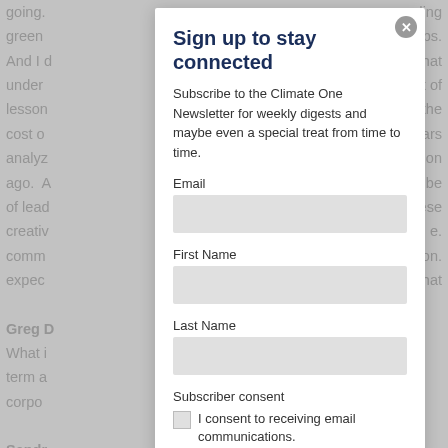going. green And I d under lesson cost o analyz ago. A of lead creati comm expec Greg D What i term a corpo Sandr
ding obs. hat lot of the ears ation o be ese e. on. th that
Sign up to stay connected
Subscribe to the Climate One Newsletter for weekly digests and maybe even a special treat from time to time.
Email
First Name
Last Name
Subscriber consent
I consent to receiving email communications.